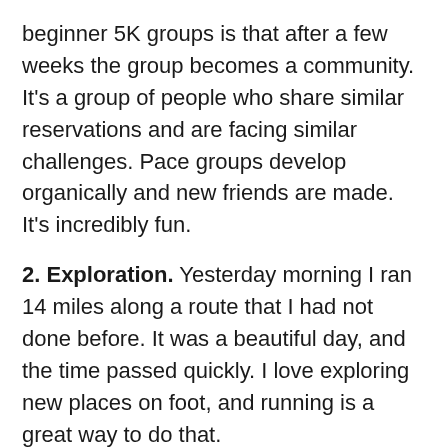beginner 5K groups is that after a few weeks the group becomes a community. It's a group of people who share similar reservations and are facing similar challenges. Pace groups develop organically and new friends are made. It's incredibly fun.
2. Exploration. Yesterday morning I ran 14 miles along a route that I had not done before. It was a beautiful day, and the time passed quickly. I love exploring new places on foot, and running is a great way to do that.
3. The Reward. Running can be hard, especially for beginners. You may ache, your lungs may burn. But you will almost always feel better after a run. It's hard to beat the sense of well-being and accomplishment gained from a tough workout. You'll also feel less guilty about the occasional indulgence in a favorite food or drink if running is part of your regular routine. I tell my 5K group that I run so I